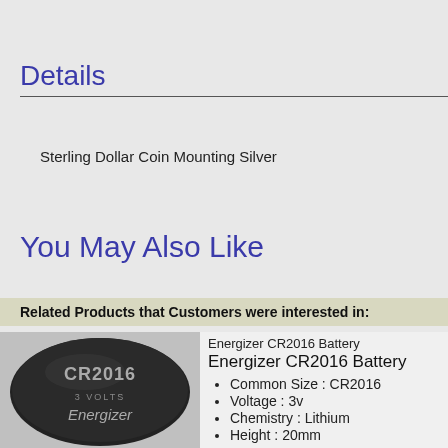Details
Sterling Dollar Coin Mounting Silver
You May Also Like
Related Products that Customers were interested in:
[Figure (photo): Energizer CR2016 3 Volts coin battery, circular black battery viewed from above]
Energizer CR2016 Battery
Energizer CR2016 Battery
Common Size : CR2016
Voltage : 3v
Chemistry : Lithium
Height : 20mm